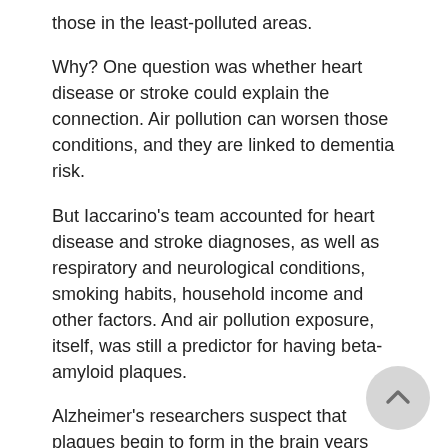those in the least-polluted areas.
Why? One question was whether heart disease or stroke could explain the connection. Air pollution can worsen those conditions, and they are linked to dementia risk.
But Iaccarino's team accounted for heart disease and stroke diagnoses, as well as respiratory and neurological conditions, smoking habits, household income and other factors. And air pollution exposure, itself, was still a predictor for having beta-amyloid plaques.
Alzheimer's researchers suspect that plaques begin to form in the brain years before dementia symptoms are apparent, Iaccarino said. So the current findings link air pollution to a brain pathology underlying the disease.
That, again, does not prove cause and effect. But based on lab research, Iaccarino said, it's possible that air pollution directly affects brain health by causing inflammation.
Xiao Wu, a researcher at Harvard University in Boston, worked on the recent study linking air pollution to